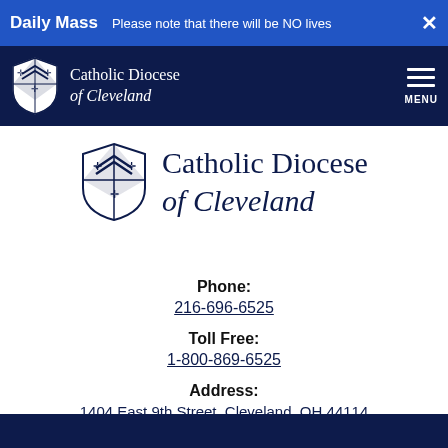Daily Mass  Please note that there will be NO lives  ×
[Figure (logo): Catholic Diocese of Cleveland navigation bar with shield logo, organization name, and hamburger menu with MENU label]
[Figure (logo): Catholic Diocese of Cleveland large shield/crest logo with organization name in navy blue]
Phone:
216-696-6525
Toll Free:
1-800-869-6525
Address:
1404 East 9th Street, Cleveland, OH 44114